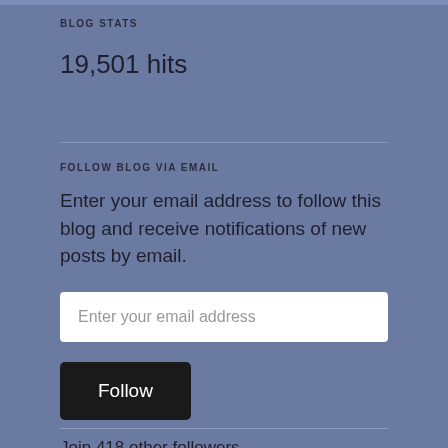BLOG STATS
19,501 hits
FOLLOW BLOG VIA EMAIL
Enter your email address to follow this blog and receive notifications of new posts by email.
Enter your email address
Follow
Join 418 other followers